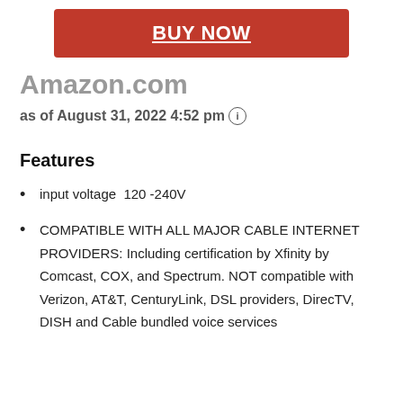[Figure (other): Red BUY NOW button with white underlined bold text]
Amazon.com
as of August 31, 2022 4:52 pm ⓘ
Features
input voltage  120 -240V
COMPATIBLE WITH ALL MAJOR CABLE INTERNET PROVIDERS: Including certification by Xfinity by Comcast, COX, and Spectrum. NOT compatible with Verizon, AT&T, CenturyLink, DSL providers, DirecTV, DISH and Cable bundled voice services